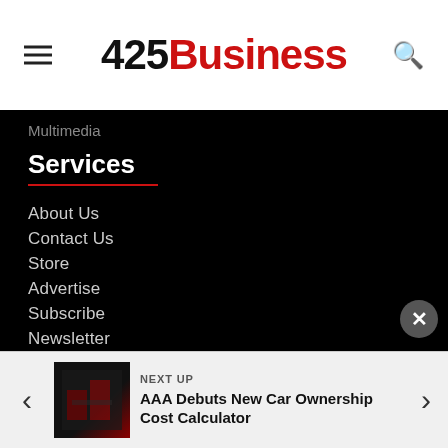425 Business
Multimedia
Services
About Us
Contact Us
Store
Advertise
Subscribe
Newsletter
Promote Your Event
Search
Weather
Directory
Contact Information
NEXT UP
AAA Debuts New Car Ownership Cost Calculator